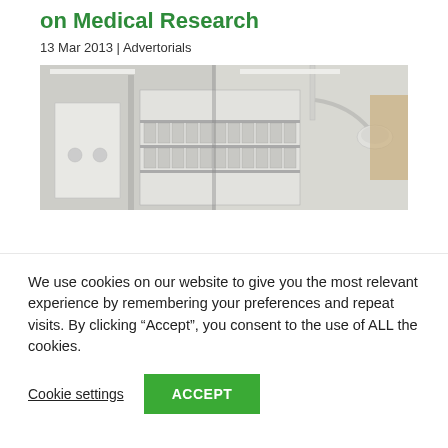on Medical Research
13 Mar 2013 | Advertorials
[Figure (photo): Laboratory interior showing white cabinets, shelving units, and overhead equipment in a medical research lab setting]
We use cookies on our website to give you the most relevant experience by remembering your preferences and repeat visits. By clicking “Accept”, you consent to the use of ALL the cookies.
Cookie settings
ACCEPT